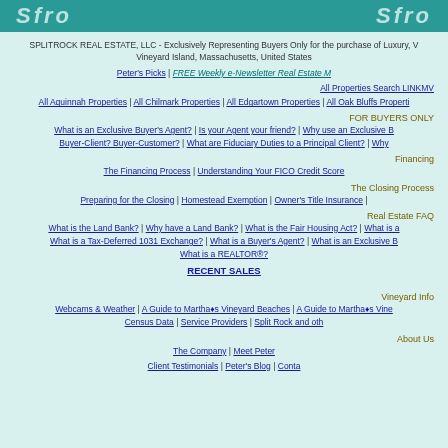SPLITROCK REAL ESTATE header bar
SPLITROCK REAL ESTATE, LLC - Exclusively Representing Buyers Only for the purchase of Luxury, Vineyard Island, Massachusetts, United States
Peter's Picks | FREE Weekly e-Newsletter Real Estate M
All Properties Search LINKMV
All Aquinnah Properties | All Chilmark Properties | All Edgartown Properties | All Oak Bluffs Properties
FOR BUYERS ONLY
What is an Exclusive Buyer's Agent? | Is your Agent your friend? | Why use an Exclusive B | Buyer-Client? Buyer-Customer? | What are Fiduciary Duties to a Principal Client? | Why
Financing
The Financing Process | Understanding Your FICO Credit Score
The Closing Process
Preparing for the Closing | Homestead Exemption | Owner's Title Insurance |
Real Estate FAQ
What is the Land Bank? | Why have a Land Bank? | What is the Fair Housing Act? | What is a | What is a Tax-Deferred 1031 Exchange? | What is a Buyer's Agent? | What is an Exclusive B | What is a REALTOR®?
RECENT SALES
Vineyard Info
Webcams & Weather | A Guide to Martha's Vineyard Beaches | A Guide to Martha's Vine | Census Data | Service Providers | Split Rock and oth
About Us
The Company | Meet Peter
Client Testimonials | Peter's Blog | Conta